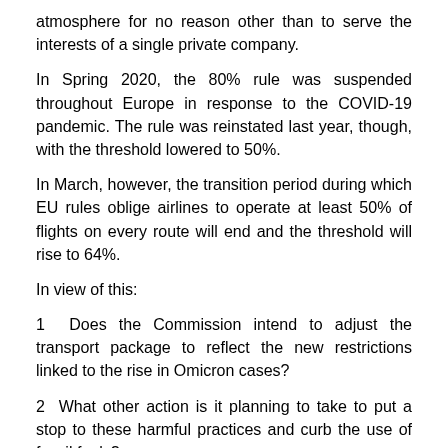atmosphere for no reason other than to serve the interests of a single private company.
In Spring 2020, the 80% rule was suspended throughout Europe in response to the COVID-19 pandemic. The rule was reinstated last year, though, with the threshold lowered to 50%.
In March, however, the transition period during which EU rules oblige airlines to operate at least 50% of flights on every route will end and the threshold will rise to 64%.
In view of this:
1  Does the Commission intend to adjust the transport package to reflect the new restrictions linked to the rise in Omicron cases?
2  What other action is it planning to take to put a stop to these harmful practices and curb the use of fossil fuels?
Last updated: 17 January 2022".